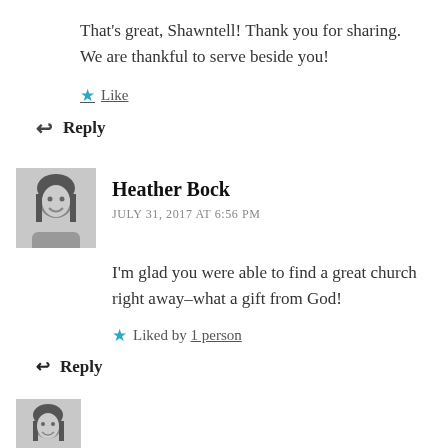That’s great, Shawntell! Thank you for sharing. We are thankful to serve beside you!
Like
Reply
[Figure (photo): Black and white profile photo of Heather Bock, a woman with long hair, smiling]
Heather Bock
JULY 31, 2017 AT 6:56 PM
I’m glad you were able to find a great church right away–what a gift from God!
Liked by 1 person
Reply
[Figure (photo): Small profile photo thumbnail at bottom of page]